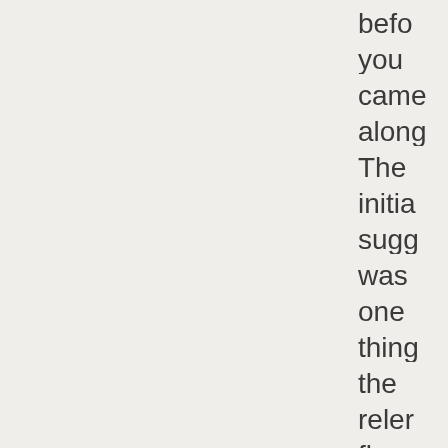befo
you
came
along
The
initia
sugg
was
one
thing
the
reler
flogg
anoth
We
will